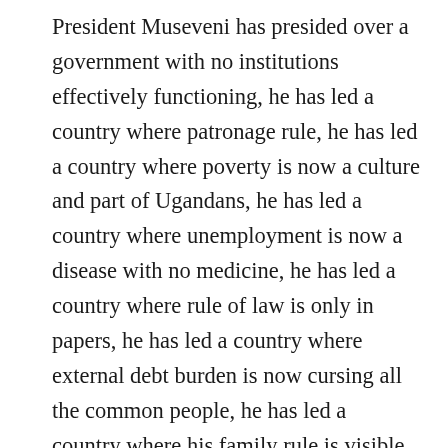President Museveni has presided over a government with no institutions effectively functioning, he has led a country where patronage rule, he has led a country where poverty is now a culture and part of Ugandans, he has led a country where unemployment is now a disease with no medicine, he has led a country where rule of law is only in papers, he has led a country where external debt burden is now cursing all the common people, he has led a country where his family rule is visible, he has led a nation where poor service delivery is a norm and where corruption is an extension of the wishes and will of M7 the man. He has led a country where youth leaders and political